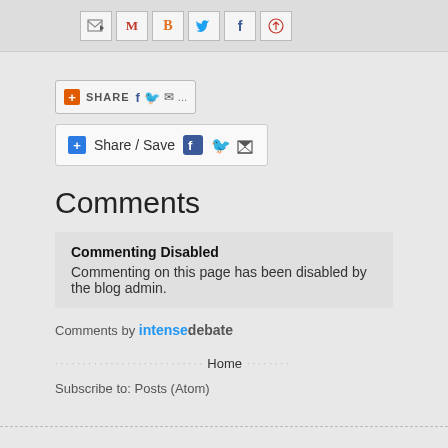[Figure (screenshot): Top bar with social sharing icons: email/forward icon, Gmail (M), Blogger (B), Twitter bird, Facebook (f), Pinterest (p)]
[Figure (screenshot): Share bar 1 with orange plus, SHARE text, Facebook, Twitter, email, and more icons]
[Figure (screenshot): Share bar 2 with blue plus, Share / Save text, Facebook, Twitter, and share icons]
Comments
Commenting Disabled
Commenting on this page has been disabled by the blog admin.
Comments by intensedebate
Home
Subscribe to: Posts (Atom)